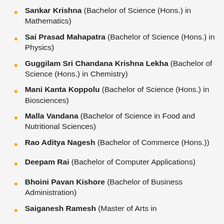Sankar Krishna (Bachelor of Science (Hons.) in Mathematics)
Sai Prasad Mahapatra (Bachelor of Science (Hons.) in Physics)
Guggilam Sri Chandana Krishna Lekha (Bachelor of Science (Hons.) in Chemistry)
Mani Kanta Koppolu (Bachelor of Science (Hons.) in Biosciences)
Malla Vandana (Bachelor of Science in Food and Nutritional Sciences)
Rao Aditya Nagesh (Bachelor of Commerce (Hons.))
Deepam Rai (Bachelor of Computer Applications)
Bhoini Pavan Kishore (Bachelor of Business Administration)
Saiganesh Ramesh (Master of Arts in